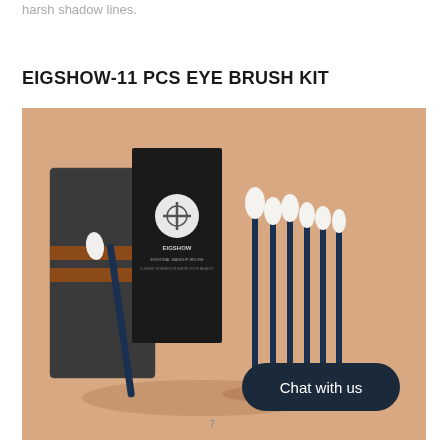harsh shadow lines.
EIGSHOW-11 PCS EYE BRUSH KIT
[Figure (photo): Product photo of EIGSHOW 11-piece eye brush kit showing a dark felt roll/pouch with brown leather straps, a black box with the EIGSHOW logo and text 'PROFESSIONAL MAKEUP BRUSH', several eye makeup brushes with navy blue handles and white bristle tips, arranged against a warm peach/terracotta background. A dark oval 'Chat with us' button overlay appears in the lower right.]